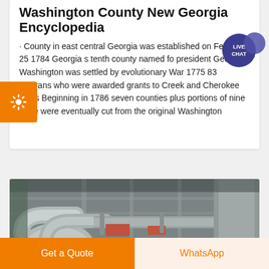Washington County New Georgia Encyclopedia
· County in east central Georgia was established on February 25 1784 Georgia s tenth county named fo president George Washington was settled by evolutionary War 1775 83 veterans who were awarded grants to Creek and Cherokee lands Beginning in 1786 seven counties plus portions of nine more were eventually cut from the original Washington
[Figure (photo): Industrial machinery photo showing metal pipes and ducts in a factory/industrial setting]
Get a Quote
WhatsApp